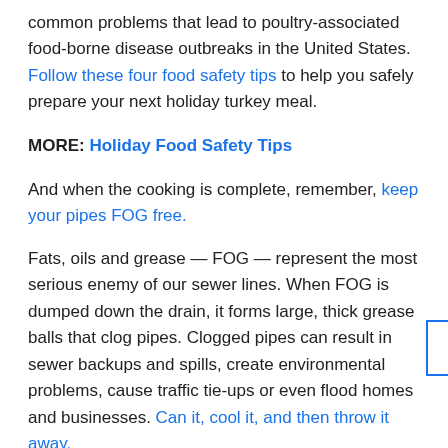common problems that lead to poultry-associated food-borne disease outbreaks in the United States. Follow these four food safety tips to help you safely prepare your next holiday turkey meal.
MORE: Holiday Food Safety Tips
And when the cooking is complete, remember, keep your pipes FOG free.
Fats, oils and grease — FOG — represent the most serious enemy of our sewer lines. When FOG is dumped down the drain, it forms large, thick grease balls that clog pipes. Clogged pipes can result in sewer backups and spills, create environmental problems, cause traffic tie-ups or even flood homes and businesses. Can it, cool it, and then throw it away.
USDA: Thanksgiving Toolkit to Prevent Foodborne Illness